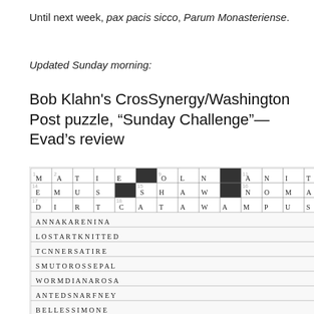Until next week, pax pacis sicco, Parum Monasteriense.
Updated Sunday morning:
Bob Klahn's CrosSynergy/Washington Post puzzle, “Sunday Challenge”—Evad’s review
[Figure (photo): Completed crossword puzzle grid for Bob Klahn's CrosSynergy/Washington Post Sunday Challenge puzzle, showing filled-in letters in a black and white grid with copyright notice at bottom.]
Aarrgghh! The Wrath of Klahn strikes again! This was one tough puzzle. Very few toeholds to gain traction, and